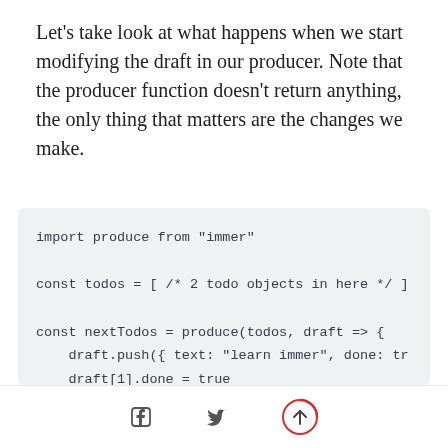Let's take look at what happens when we start modifying the draft in our producer. Note that the producer function doesn't return anything, the only thing that matters are the changes we make.
[Figure (screenshot): Code block showing JavaScript using immer's produce function: import produce from "immer", const todos array, const nextTodos = produce(todos, draft => { draft.push({ text: "learn immer", done: tr  draft[1].done = true }), // old state is unmodified, console.log(todos.length) // 2, console.log(todos[1].done) // false (partially visible)]
Social share icons: Facebook, Twitter, scroll-to-top button